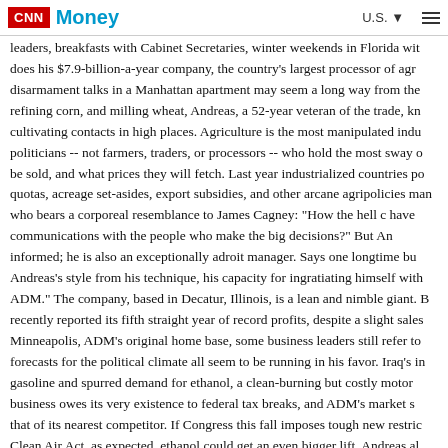CNN Money | U.S.
leaders, breakfasts with Cabinet Secretaries, winter weekends in Florida wit does his $7.9-billion-a-year company, the country's largest processor of agr disarmament talks in a Manhattan apartment may seem a long way from the refining corn, and milling wheat, Andreas, a 52-year veteran of the trade, kn cultivating contacts in high places. Agriculture is the most manipulated indu politicians -- not farmers, traders, or processors -- who hold the most sway o be sold, and what prices they will fetch. Last year industrialized countries po quotas, acreage set-asides, export subsidies, and other arcane agripolicies man who bears a corporeal resemblance to James Cagney: "How the hell c have communications with the people who make the big decisions?" But An informed; he is also an exceptionally adroit manager. Says one longtime bu Andreas's style from his technique, his capacity for ingratiating himself with ADM." The company, based in Decatur, Illinois, is a lean and nimble giant. B recently reported its fifth straight year of record profits, despite a slight sales Minneapolis, ADM's original home base, some business leaders still refer to forecasts for the political climate all seem to be running in his favor. Iraq's in gasoline and spurred demand for ethanol, a clean-burning but costly motor business owes its very existence to federal tax breaks, and ADM's market s that of its nearest competitor. If Congress this fall imposes tough new restric Clean Air Act, as expected, ethanol could get an even bigger lift. Andreas al businessman in Moscow, successor to Armand Hammer, the nonagenarian bread lines in the Soviet Union, Gorbachev is under new pressure to moder and distribution systems -- an effort ADM is poised to assist. According to R expert with J.E. Liss & Co. in Milwaukee, Andreas, who has made some 75 "quintessential American" the Russians are most comfortable dealing with.